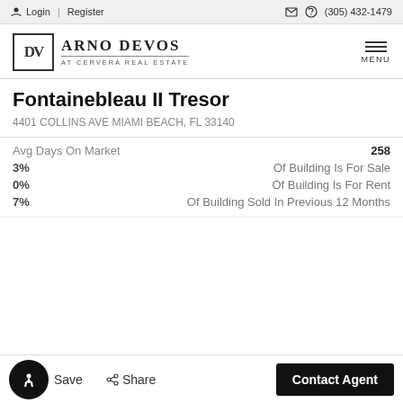Login | Register  (305) 432-1479
[Figure (logo): Arno DeVos at Cervera Real Estate logo with DV monogram and menu icon]
Fontainebleau II Tresor
4401 COLLINS AVE MIAMI BEACH, FL 33140
Avg Days On Market  258
3%  Of Building Is For Sale
0%  Of Building Is For Rent
7%  Of Building Sold In Previous 12 Months
Save  Share  Contact Agent